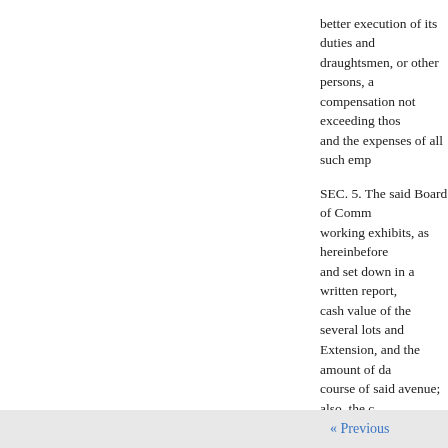better execution of its duties and draughtsmen, or other persons, a compensation not exceeding thos and the expenses of all such emp
SEC. 5. The said Board of Comm working exhibits, as hereinbefore and set down in a written report, cash value of the several lots and Extension, and the amount of da course of said avenue; also, the c Fifteenth Avenue Extension, and said Board shall severally specify and shall set against each lot, sub claimants thereof, or of persons i particulars of their interests, resp of value or damage determined u conflicting claims of title exist, o or of any interest therein, it shall proceed to ascertain and determi several subdivisions and lots of l description shall set, against each and determination of said Board,
« Previous